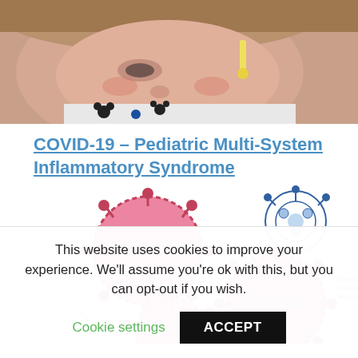[Figure (photo): Close-up photo of a young child lying down, appearing ill, wearing a Mickey Mouse patterned outfit with a thermometer visible]
COVID-19 – Pediatric Multi-System Inflammatory Syndrome
[Figure (illustration): Scientific diagram showing coronavirus structure and modification process — pink virus particles with spike proteins, a blue detailed coronavirus, and a modified virus containing gene from coronavirus, with labels 'Virus' and 'Modified virus containing gene from coronavirus']
This website uses cookies to improve your experience. We'll assume you're ok with this, but you can opt-out if you wish.
Cookie settings   ACCEPT